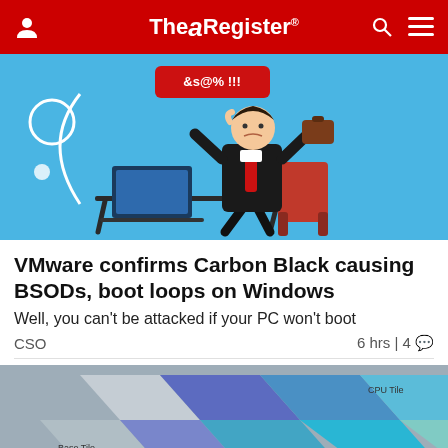The Register
[Figure (illustration): Cartoon of a frustrated businessman in a suit kicking near a desk with a blue laptop showing an error screen, on a blue background with error symbols &s@% !!!]
VMware confirms Carbon Black causing BSODs, boot loops on Windows
Well, you can't be attacked if your PC won't boot
CSO  6 hrs | 4
[Figure (photo): Partial view of tiled chip/CPU packaging showing Base Tile and CPU Tile labels on colored diamond-shaped tiles in grey and blue]